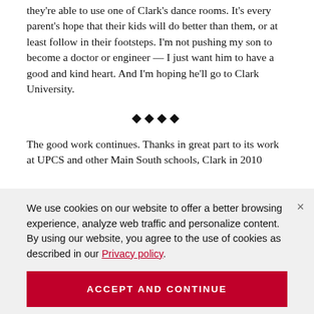they're able to use one of Clark's dance rooms. It's every parent's hope that their kids will do better than them, or at least follow in their footsteps. I'm not pushing my son to become a doctor or engineer — I just want him to have a good and kind heart. And I'm hoping he'll go to Clark University.
◆◆◆◆
The good work continues. Thanks in great part to its work at UPCS and other Main South schools, Clark in 2010
We use cookies on our website to offer a better browsing experience, analyze web traffic and personalize content. By using our website, you agree to the use of cookies as described in our Privacy policy.
ACCEPT AND CONTINUE